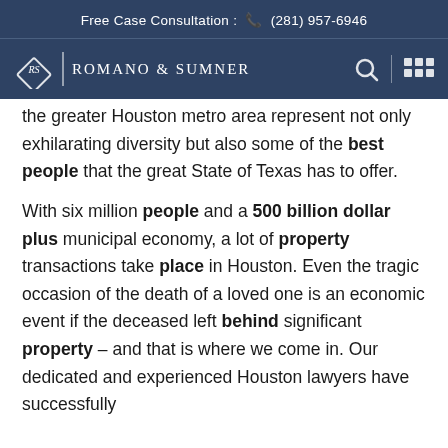Free Case Consultation : (281) 957-6946
[Figure (logo): Romano & Sumner law firm logo with diamond RS emblem on dark blue navigation bar]
the greater Houston metro area represent not only exhilarating diversity but also some of the best people that the great State of Texas has to offer.
With six million people and a 500 billion dollar plus municipal economy, a lot of property transactions take place in Houston. Even the tragic occasion of the death of a loved one is an economic event if the deceased left behind significant property – and that is where we come in. Our dedicated and experienced Houston lawyers have successfully